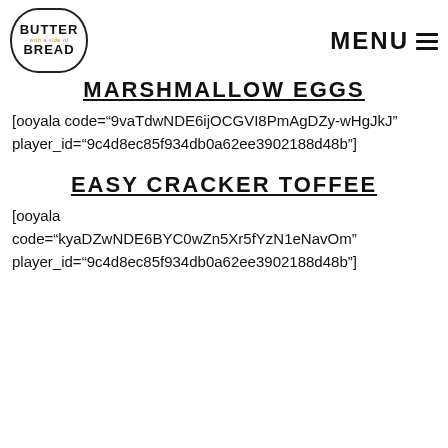BUTTER with a side of BREAD | MENU
MARSHMALLOW EGGS
[ooyala code="9vaTdwNDE6ijOCGVI8PmAgDZy-wHgJkJ" player_id="9c4d8ec85f934db0a62ee3902188d48b"]
EASY CRACKER TOFFEE
[ooyala code="kyaDZwNDE6BYC0wZn5Xr5fYzN1eNavOm" player_id="9c4d8ec85f934db0a62ee3902188d48b"]